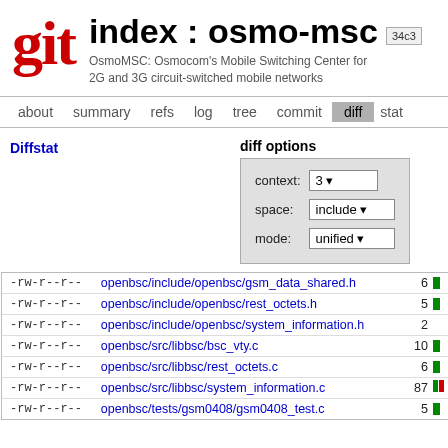[Figure (logo): Git logo in red bold serif font]
index : osmo-msc
34c3
OsmoMSC: Osmocom's Mobile Switching Center for 2G and 3G circuit-switched mobile networks
about  summary  refs  log  tree  commit  diff  stat
Diffstat
diff options
|  |  |
| --- | --- |
| context: | 3 |
| space: | include |
| mode: | unified |
| permissions | file | lines | bar |
| --- | --- | --- | --- |
| -rw-r--r-- | openbsc/include/openbsc/gsm_data_shared.h | 6 |  |
| -rw-r--r-- | openbsc/include/openbsc/rest_octets.h | 5 |  |
| -rw-r--r-- | openbsc/include/openbsc/system_information.h | 2 |  |
| -rw-r--r-- | openbsc/src/libbsc/bsc_vty.c | 10 |  |
| -rw-r--r-- | openbsc/src/libbsc/rest_octets.c | 6 |  |
| -rw-r--r-- | openbsc/src/libbsc/system_information.c | 87 |  |
| -rw-r--r-- | openbsc/tests/gsm0408/gsm0408_test.c | 5 |  |